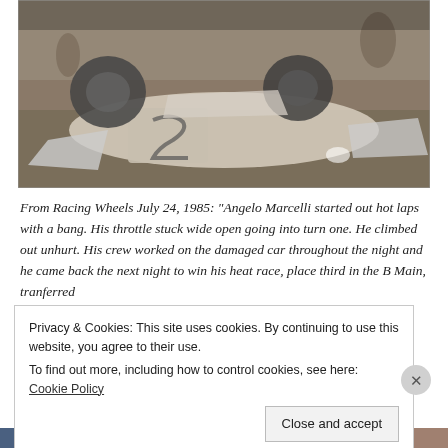[Figure (photo): Black and white newspaper photograph showing an overturned racing car (number visible) lying on its side on grass, with wheels visible and parts of the car's bodywork spread around. People can be seen in the background.]
From Racing Wheels July 24, 1985: “Angelo Marcelli started out hot laps with a bang. His throttle stuck wide open going into turn one. He climbed out unhurt. His crew worked on the damaged car throughout the night and he came back the next night to win his heat race, place third in the B Main, tranferred
Privacy & Cookies: This site uses cookies. By continuing to use this website, you agree to their use. To find out more, including how to control cookies, see here: Cookie Policy
Close and accept